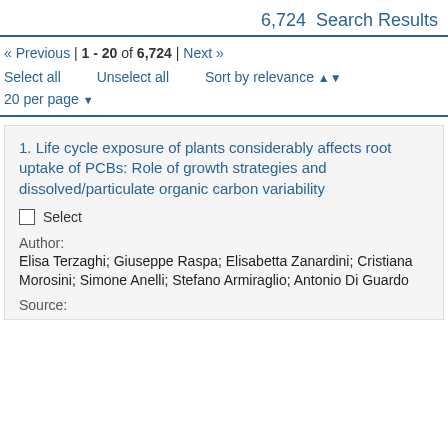6,724 Search Results
« Previous | 1 - 20 of 6,724 | Next »
Select all   Unselect all   Sort by relevance
20 per page
1. Life cycle exposure of plants considerably affects root uptake of PCBs: Role of growth strategies and dissolved/particulate organic carbon variability
☐ Select
Author:
Elisa Terzaghi; Giuseppe Raspa; Elisabetta Zanardini; Cristiana Morosini; Simone Anelli; Stefano Armiraglio; Antonio Di Guardo
Source: